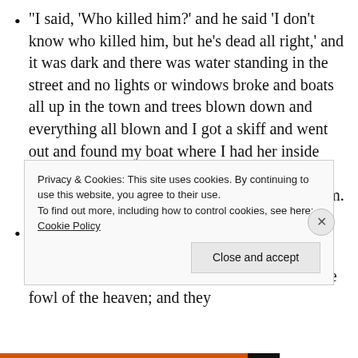“I said, ‘Who killed him?’ and he said ‘I don’t know who killed him, but he’s dead all right,’ and it was dark and there was water standing in the street and no lights or windows broke and boats all up in the town and trees blown down and everything all blown and I got a skiff and went out and found my boat where I had her inside Mango Key and she was right only she was full of water.”— Ernest Hemingway, After the Storm.
“And every living substance was destroyed which was upon the face of the ground, both man, and cattle, and the creeping things, and the fowl of the heaven; and they
Privacy & Cookies: This site uses cookies. By continuing to use this website, you agree to their use.
To find out more, including how to control cookies, see here: Cookie Policy